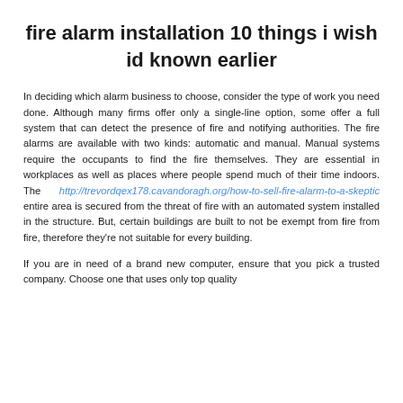fire alarm installation 10 things i wish id known earlier
In deciding which alarm business to choose, consider the type of work you need done. Although many firms offer only a single-line option, some offer a full system that can detect the presence of fire and notifying authorities. The fire alarms are available with two kinds: automatic and manual. Manual systems require the occupants to find the fire themselves. They are essential in workplaces as well as places where people spend much of their time indoors. The http://trevordqex178.cavandoragh.org/how-to-sell-fire-alarm-to-a-skeptic entire area is secured from the threat of fire with an automated system installed in the structure. But, certain buildings are built to not be exempt from fire from fire, therefore they're not suitable for every building.
If you are in need of a brand new computer, ensure that you pick a trusted company. Choose one that uses only top quality